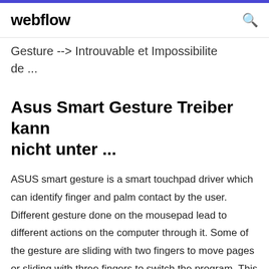webflow
Gesture --> Introuvable et Impossibilite de ...
Asus Smart Gesture Treiber kann nicht unter ...
ASUS smart gesture is a smart touchpad driver which can identify finger and palm contact by the user. Different gesture done on the mousepad lead to different actions on the computer through it. Some of the gesture are sliding with two fingers to move pages or sliding with three fingers to switch the program. This way you can easily use your